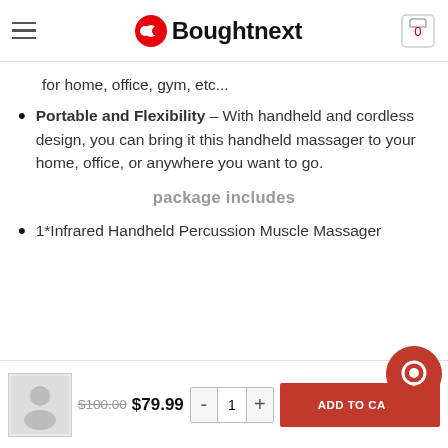Boughtnext
for home, office, gym, etc...
Portable and Flexibility – With handheld and cordless design, you can bring it this handheld massager to your home, office, or anywhere you want to go.
package includes
1*Infrared Handheld Percussion Muscle Massager
$100.00 $79.99
- 1 + ADD TO CA